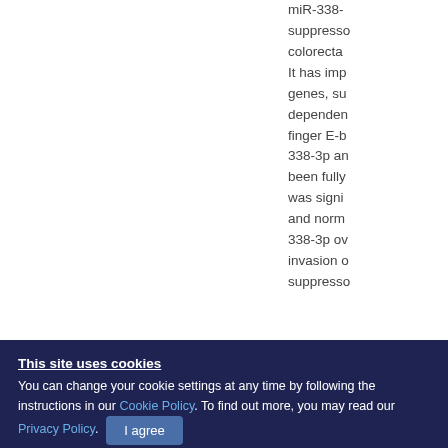miR-338- suppresso colorecta It has imp genes, su dependen finger E-b 338-3p an been fully was signi and norm 338-3p ov invasion o suppresso
This site uses cookies
You can change your cookie settings at any time by following the instructions in our Cookie Policy. To find out more, you may read our Privacy Policy.